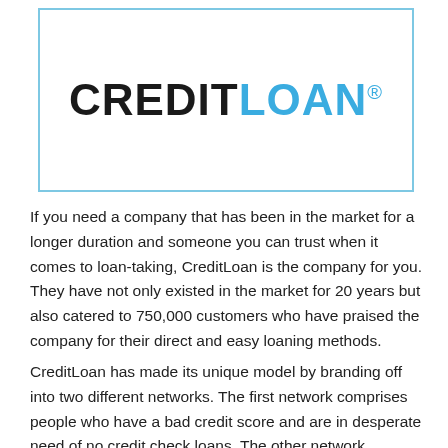[Figure (logo): CreditLoan logo — CREDIT in dark/black bold sans-serif, LOAN in blue bold sans-serif, followed by registered trademark symbol]
If you need a company that has been in the market for a longer duration and someone you can trust when it comes to loan-taking, CreditLoan is the company for you. They have not only existed in the market for 20 years but also catered to 750,000 customers who have praised the company for their direct and easy loaning methods.
CreditLoan has made its unique model by branding off into two different networks. The first network comprises people who have a bad credit score and are in desperate need of no credit check loans. The other network comprises people who have a...